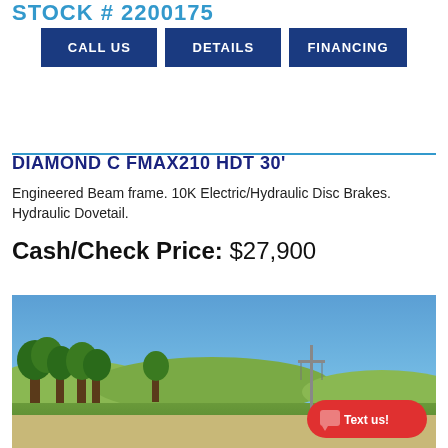STOCK # 2200175
CALL US
DETAILS
FINANCING
DIAMOND C FMAX210 HDT 30'
Engineered Beam frame. 10K Electric/Hydraulic Disc Brakes. Hydraulic Dovetail.
Cash/Check Price: $27,900
[Figure (photo): Outdoor photo of a trailer/equipment lot with trees and clear blue sky in the background. A red 'Text us!' button overlay appears in the bottom-right corner.]